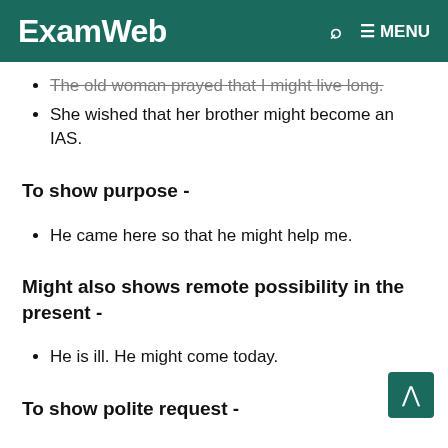ExamWeb   🔍  ≡ MENU
The old woman prayed that I might live long.
She wished that her brother might become an IAS.
To show purpose -
He came here so that he might help me.
Might also shows remote possibility in the present -
He is ill. He might come today.
To show polite request -